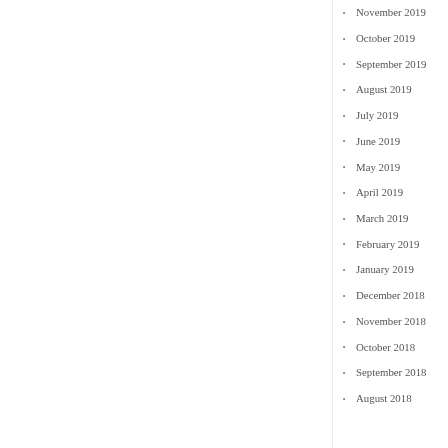November 2019
October 2019
September 2019
August 2019
July 2019
June 2019
May 2019
April 2019
March 2019
February 2019
January 2019
December 2018
November 2018
October 2018
September 2018
August 2018